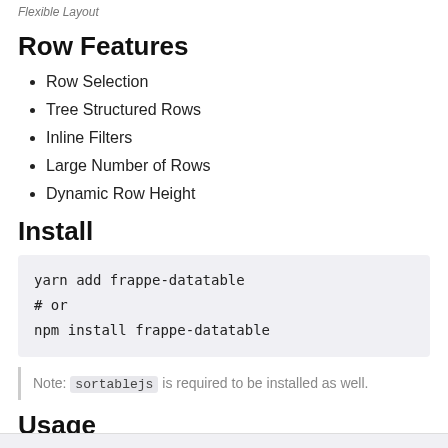Flexible Layout
Row Features
Row Selection
Tree Structured Rows
Inline Filters
Large Number of Rows
Dynamic Row Height
Install
yarn add frappe-datatable
# or
npm install frappe-datatable
Note: sortablejs is required to be installed as well.
Usage